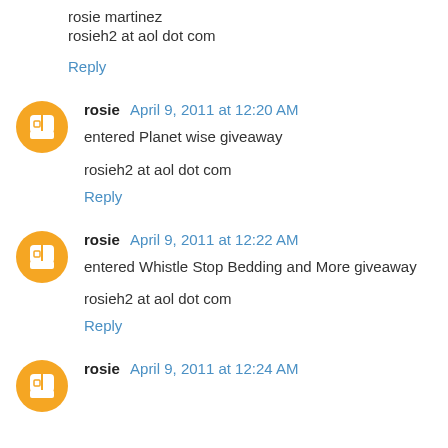rosie martinez
rosieh2 at aol dot com
Reply
rosie April 9, 2011 at 12:20 AM
entered Planet wise giveaway
rosieh2 at aol dot com
Reply
rosie April 9, 2011 at 12:22 AM
entered Whistle Stop Bedding and More giveaway
rosieh2 at aol dot com
Reply
rosie April 9, 2011 at 12:24 AM